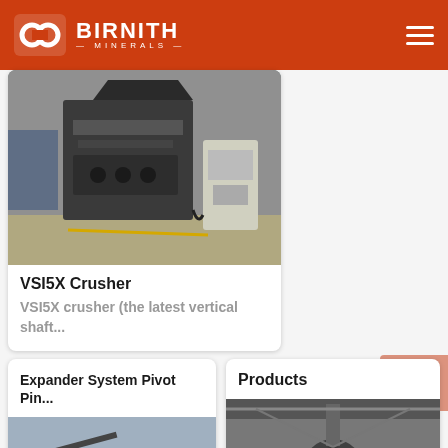BIRNITH MINERALS
[Figure (photo): VSI5X crusher machine in industrial setting, dark grey heavy machinery with hydraulic unit]
VSI5X Crusher
VSI5X crusher (the latest vertical shaft...
Expander System Pivot Pin...
Products
[Figure (photo): Industrial machinery photo, partially visible at bottom]
[Figure (photo): Industrial equipment photo for Products card, partially visible]